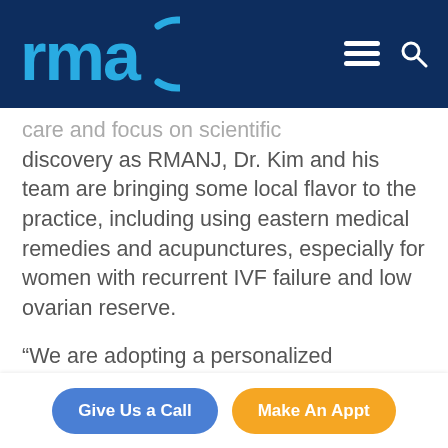rma
care and focus on scientific discovery as RMANJ, Dr. Kim and his team are bringing some local flavor to the practice, including using eastern medical remedies and acupunctures, especially for women with recurrent IVF failure and low ovarian reserve.
“We are adopting a personalized
Give Us a Call | Make An Appt